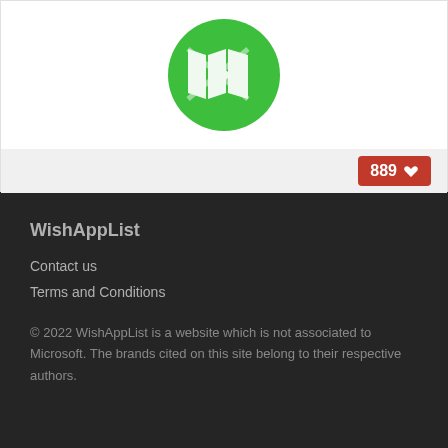[Figure (logo): Green circle app icon with white map/bandage cross pattern]
889 ♥
WishAppList
Contact us
Terms and Conditions
© 2022 WishAppList is a website which is not associated to Microsoft. The brands cited on this site belong to their respective authors.